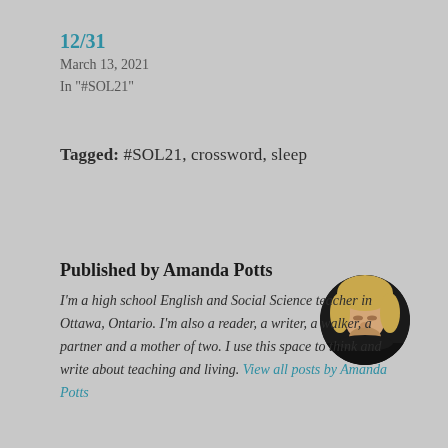12/31
March 13, 2021
In "#SOL21"
Tagged:   #SOL21,  crossword,  sleep
Published by Amanda Potts
I'm a high school English and Social Science teacher in Ottawa, Ontario. I'm also a reader, a writer, a walker, a partner and a mother of two. I use this space to think and write about teaching and living. View all posts by Amanda Potts
[Figure (photo): Circular avatar photo of Amanda Potts, a woman with blonde hair, head tilted down, on dark background]